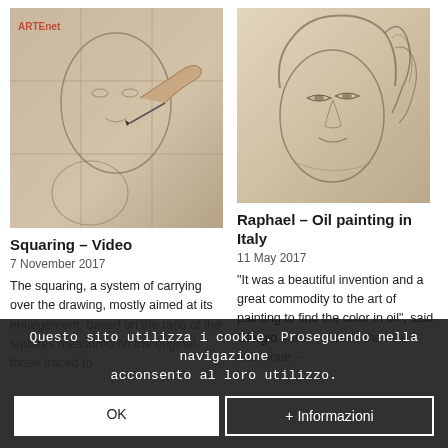[Figure (photo): Hand drawing a squaring grid over a face sketch, with 'ARTEnet' watermark in red top-left]
Squaring – Video
7 November 2017
The squaring, a system of carrying over the drawing, mostly aimed at its enlargement, based on the ratio of the squares measured on the original, those traced to
[Figure (photo): Classical pencil drawing of a woman's face with curly hair, Raphael-style]
Raphael – Oil painting in Italy
11 May 2017
"It was a beautiful invention and a great commodity to the art of painting to find the color in oil", said Giorgio Vasari. Indeed the new technique –
Questo sito utilizza i cookie. Proseguendo nella navigazione acconsento al loro utilizzo.
OK
+ Informazioni